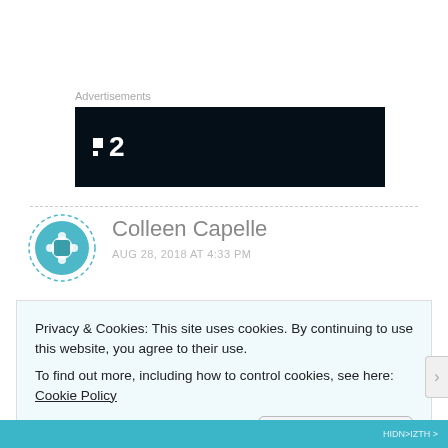Advertisements
[Figure (logo): Dark banner advertisement with a logo showing two squares and the number 2 in white on black background]
Colleen Capelle
AUG 28, 2018 AT 4:33 PM
Privacy & Cookies: This site uses cookies. By continuing to use this website, you agree to their use.
To find out more, including how to control cookies, see here: Cookie Policy
Close and accept